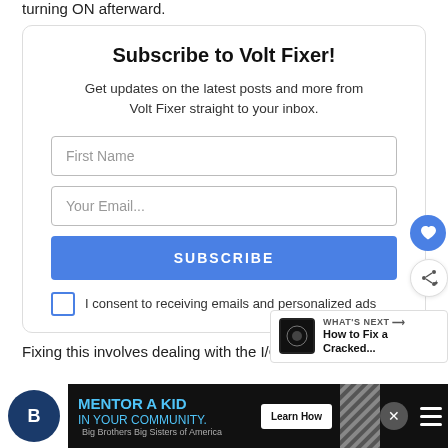turning ON afterward.
Subscribe to Volt Fixer!
Get updates on the latest posts and more from Volt Fixer straight to your inbox.
I consent to receiving emails and personalized ads
Fixing this involves dealing with the I/O board and other...
[Figure (infographic): Advertisement banner for Big Brothers Big Sisters: MENTOR A KID IN YOUR COMMUNITY with Learn How button]